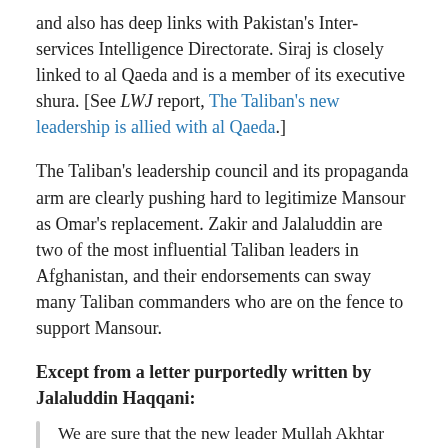and also has deep links with Pakistan's Inter-services Intelligence Directorate. Siraj is closely linked to al Qaeda and is a member of its executive shura. [See LWJ report, The Taliban's new leadership is allied with al Qaeda.]
The Taliban's leadership council and its propaganda arm are clearly pushing hard to legitimize Mansour as Omar's replacement. Zakir and Jalaluddin are two of the most influential Taliban leaders in Afghanistan, and their endorsements can sway many Taliban commanders who are on the fence to support Mansour.
Except from a letter purportedly written by Jalaluddin Haqqani:
We are sure that the new leader Mullah Akhtar Mohammad Mansoor is appointed with complete legitimacy and after due consultation and he is the most suitable successor of His Excellency the late Mullah Mohammad Umar Mujahid (may his soul rest in peace).